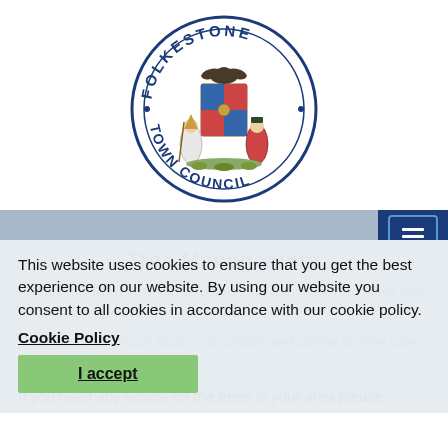[Figure (logo): Folkestone Town Council circular seal/logo with coat of arms, two figures (a bishop and a mayor in robes), 'FOLKESTONE' at top and 'TOWN COUNCIL' at bottom in navy blue text around a circle border]
This website uses cookies to ensure that you get the best experience on our website. By using our website you consent to all cookies in accordance with our cookie policy.
Cookie Policy
I accept
Tree Management
Folkestone Town Council, in association with the BTCV, have four volunteer tree wardens.
Tree wardens consult local communities and advise on tree care and maintenance.
If you need any advice on the trees in your area please